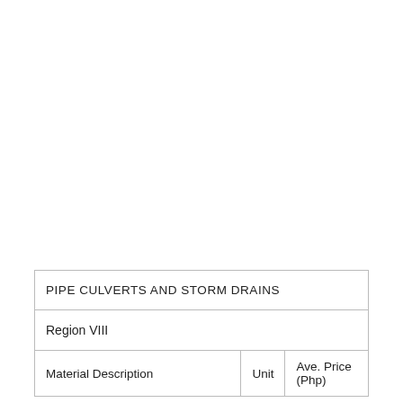| PIPE CULVERTS AND STORM DRAINS |  |  |
| --- | --- | --- |
| Region VIII |  |  |
| Material Description | Unit | Ave. Price
(Php) |